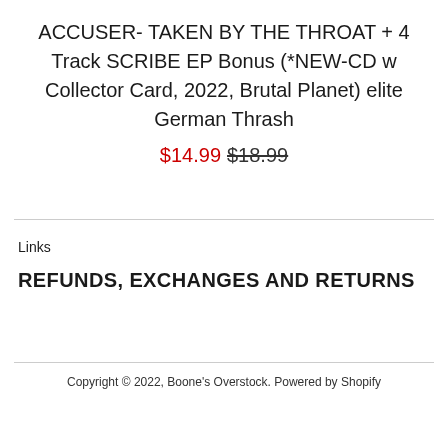ACCUSER- TAKEN BY THE THROAT + 4 Track SCRIBE EP Bonus (*NEW-CD w Collector Card, 2022, Brutal Planet) elite German Thrash
$14.99 $18.99
Links
REFUNDS, EXCHANGES AND RETURNS
Copyright © 2022, Boone's Overstock. Powered by Shopify